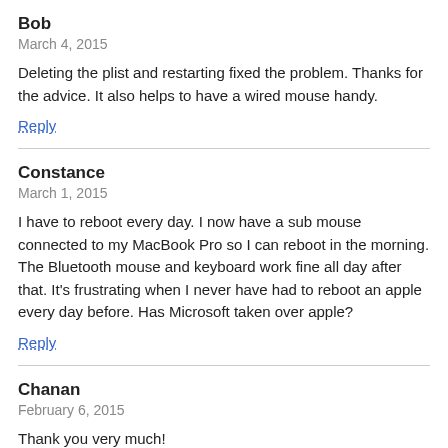Bob
March 4, 2015
Deleting the plist and restarting fixed the problem. Thanks for the advice. It also helps to have a wired mouse handy.
Reply
Constance
March 1, 2015
I have to reboot every day. I now have a sub mouse connected to my MacBook Pro so I can reboot in the morning. The Bluetooth mouse and keyboard work fine all day after that. It's frustrating when I never have had to reboot an apple every day before. Has Microsoft taken over apple?
Reply
Chanan
February 6, 2015
Thank you very much!
Reply